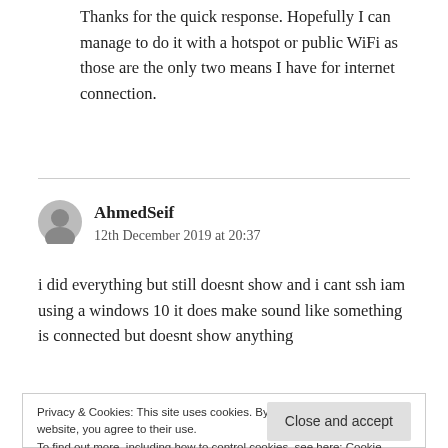Thanks for the quick response. Hopefully I can manage to do it with a hotspot or public WiFi as those are the only two means I have for internet connection.
AhmedSeif
12th December 2019 at 20:37
i did everything but still doesnt show and i cant ssh iam using a windows 10 it does make sound like something is connected but doesnt show anything
Privacy & Cookies: This site uses cookies. By continuing to use this website, you agree to their use.
To find out more, including how to control cookies, see here: Cookie Policy
Close and accept